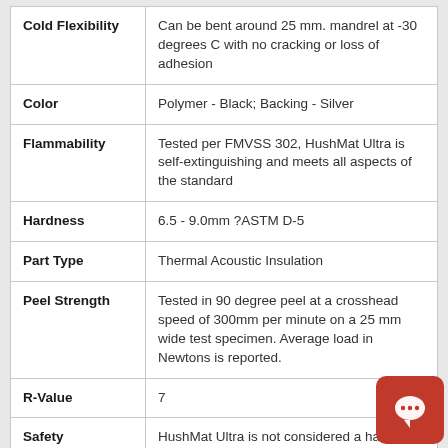| Property | Value |
| --- | --- |
| Cold Flexibility | Can be bent around 25 mm. mandrel at -30 degrees C with no cracking or loss of adhesion |
| Color | Polymer - Black; Backing - Silver |
| Flammability | Tested per FMVSS 302, HushMat Ultra is self-extinguishing and meets all aspects of the standard |
| Hardness | 6.5 - 9.0mm ?ASTM D-5 |
| Part Type | Thermal Acoustic Insulation |
| Peel Strength | Tested in 90 degree peel at a crosshead speed of 300mm per minute on a 25 mm wide test specimen. Average load in Newtons is reported. |
| R-Value | 7 |
| Safety | HushMat Ultra is not considered a hazardous material. Care should be used in handling to avoid cuts from the foil. Gloves are |